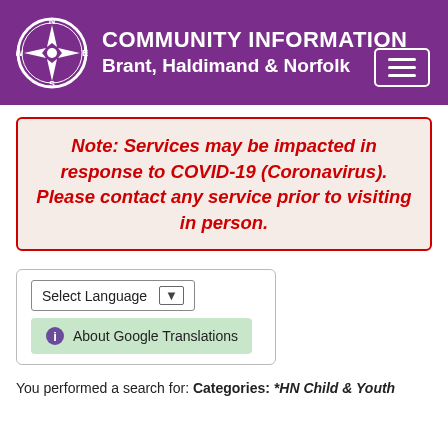[Figure (logo): Community Information Brant, Haldimand & Norfolk header banner with compass rose logo on purple background and hamburger menu button]
Note: Services may be impacted in response to COVID-19 (Coronavirus). Please contact any service prior to visiting in person.
[Figure (screenshot): Language selector widget with 'Select Language' dropdown and 'About Google Translations' green button]
You performed a search for: Categories: *HN Child & Youth